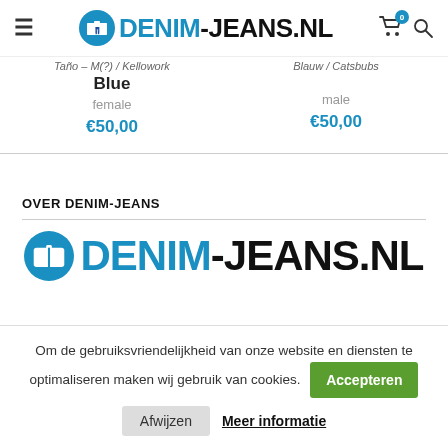[Figure (logo): Denim-Jeans.nl website header with logo, hamburger menu, cart icon with badge 0, and search icon]
Taño – M(?) / Kellowork Blue
female
€50,00
Blauw / Catsbubs
male
€50,00
OVER DENIM-JEANS
[Figure (logo): Large Denim-Jeans.nl logo at bottom of page]
Om de gebruiksvriendelijkheid van onze website en diensten te optimaliseren maken wij gebruik van cookies.
Accepteren
Afwijzen
Meer informatie